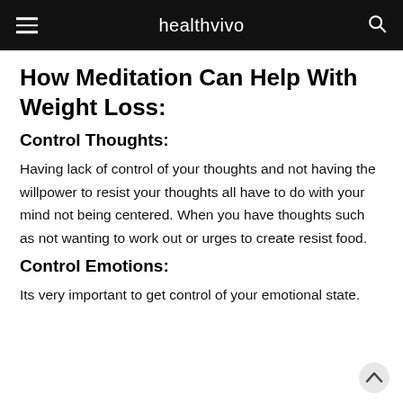healthvivo
How Meditation Can Help With Weight Loss:
Control Thoughts:
Having lack of control of your thoughts and not having the willpower to resist your thoughts all have to do with your mind not being centered. When you have thoughts such as not wanting to work out or urges to create resist food.
Control Emotions:
Its very important to get control of your emotional state.